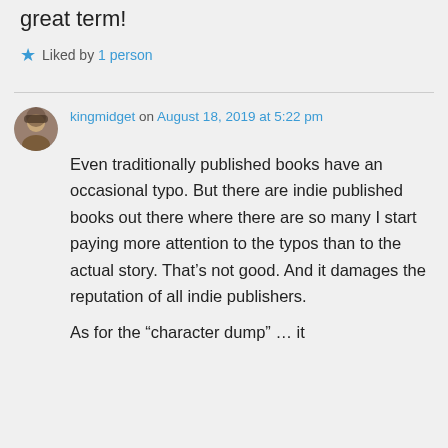great term!
★ Liked by 1 person
kingmidget on August 18, 2019 at 5:22 pm
Even traditionally published books have an occasional typo. But there are indie published books out there where there are so many I start paying more attention to the typos than to the actual story. That's not good. And it damages the reputation of all indie publishers.
As for the “character dump” … it